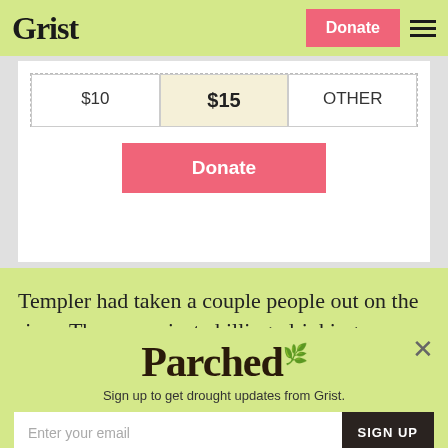Grist | Donate | Menu
[Figure (screenshot): Donation widget with $10, $15, OTHER amount buttons and a Donate button]
Templer had taken a couple people out on the river. They were just chilling, drinking
[Figure (screenshot): Parched newsletter signup popup with email input and Sign Up button]
Sign up to get drought updates from Grist.
No thanks